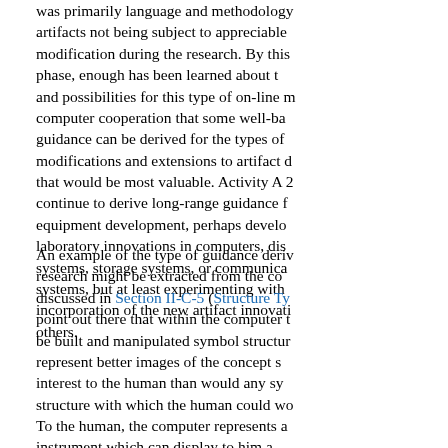was primarily language and methodology artifacts not being subject to appreciable modification during the research. By this phase, enough has been learned about the and possibilities for this type of on-line m computer cooperation that some well-bas guidance can be derived for the types of modifications and extensions to artifact d that would be most valuable. Activity A 2 continue to derive long-range guidance f equipment development, perhaps develo laboratory innovations in computers, dis systems, storage systems, or communica systems, but at least experimenting with incorporation of the new artifact innovatio others.
An example of the type of guidance deriv research might be extracted from the co discussed in Section II-C-5 (Structure Ty point out there that within the computer t be built and manipulated symbol structur represent better images of the concept s interest to the human than would any sy structure with which the human could wo To the human, the computer represents a instrument which can display to him a